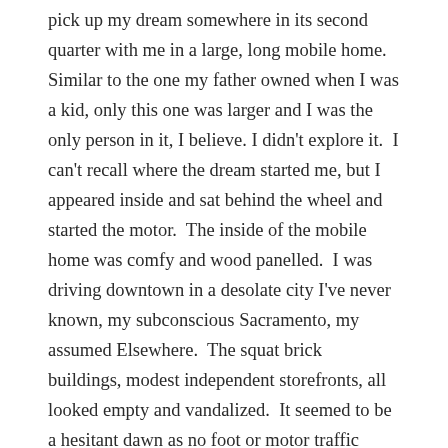pick up my dream somewhere in its second quarter with me in a large, long mobile home. Similar to the one my father owned when I was a kid, only this one was larger and I was the only person in it, I believe. I didn't explore it.  I can't recall where the dream started me, but I appeared inside and sat behind the wheel and started the motor.  The inside of the mobile home was comfy and wood panelled.  I was driving downtown in a desolate city I've never known, my subconscious Sacramento, my assumed Elsewhere.  The squat brick buildings, modest independent storefronts, all looked empty and vandalized.  It seemed to be a hesitant dawn as no foot or motor traffic moved except me. I made a servicable right turn onto one street, only to see it blocked with large debris. Picture the aftermath of a superhero battle.